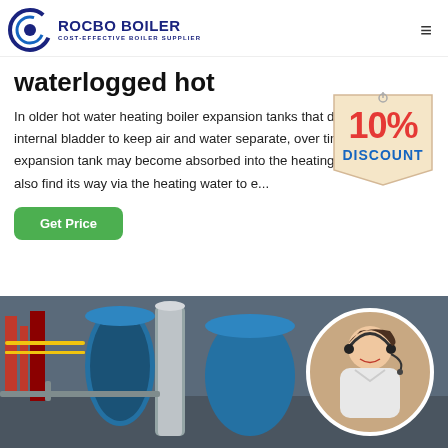[Figure (logo): Rocbo Boiler logo with circular icon and text 'ROCBO BOILER / COST-EFFECTIVE BOILER SUPPLIER']
waterlogged hot
In older hot water heating boiler expansion tanks that do not have an internal bladder to keep air and water separate, over time air in the expansion tank may become absorbed into the heating water. Air may also find its way via the heating water to e...
[Figure (infographic): 10% Discount badge/tag in red and blue on beige background]
[Figure (photo): Industrial boiler equipment in a factory setting with blue cylindrical boilers and Chinese characters, overlaid with a circular inset of a female customer service representative wearing a headset]
Get Price